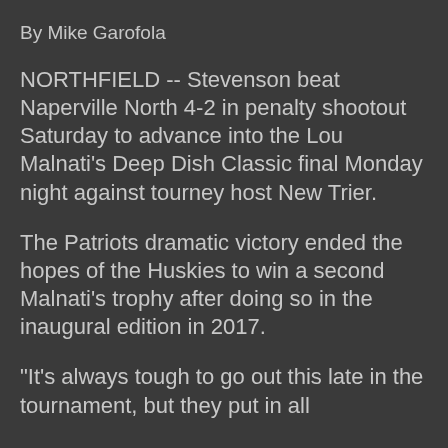By Mike Garofola
NORTHFIELD -- Stevenson beat Naperville North 4-2 in penalty shootout Saturday to advance into the Lou Malnati's Deep Dish Classic final Monday night against tourney host New Trier.
The Patriots dramatic victory ended the hopes of the Huskies to win a second Malnati's trophy after doing so in the inaugural edition in 2017.
"It's always tough to go out this late in the tournament, but they put in all